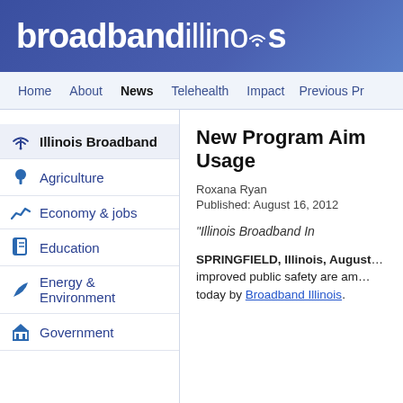[Figure (logo): Broadband Illinois logo — white text on blue banner background with wifi icon above the 'i' in Illinois]
Home  About  News  Telehealth  Impact  Previous Pr
Illinois Broadband
Agriculture
Economy & jobs
Education
Energy & Environment
Government
New Program Aim… Usage
Roxana Ryan
Published: August 16, 2012
“Illinois Broadband In…
SPRINGFIELD, Illinois, August… improved public safety are am… today by Broadband Illinois.